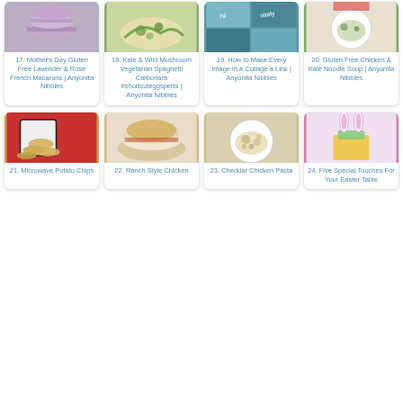[Figure (photo): Lavender and rose French macarons stacked]
17. Mother's Day Gluten Free Lavender & Rose French Macarons | Anyonita Nibbles
[Figure (photo): Kale and wild mushroom vegetarian spaghetti carbonara pasta dish]
18. Kale & Wild Mushroom Vegetarian Spaghetti Carbonara #shortcuteggsperts | Anyonita Nibbles
[Figure (photo): Colorful collage of images in teal and blue tones]
19. How to Make Every Image in a Collage a Link | Anyonita Nibbles
[Figure (photo): Bowl of gluten free chicken and kale noodle soup]
20. Gluten Free Chicken & Kale Noodle Soup | Anyonita Nibbles
[Figure (photo): Microwave potato chips spilling from a checkered bag on red background]
21. Microwave Potato Chips
[Figure (photo): Ranch style chicken sandwich on a plate]
22. Ranch Style Chicken
[Figure (photo): Cheddar chicken pasta on a white plate]
23. Cheddar Chicken Pasta
[Figure (photo): Easter table decoration with bunny ears and colorful arrangement]
24. Five Special Touches For Your Easter Table